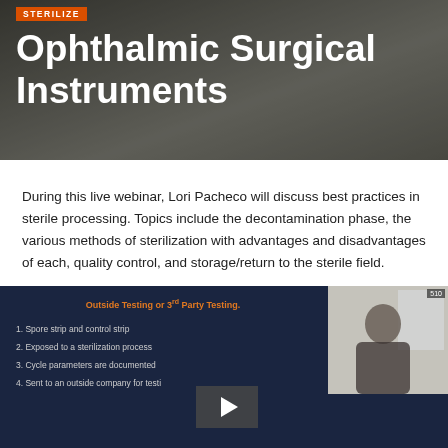[Figure (photo): Hero banner image with dark overlay showing sterilization instruments, with orange label text partially visible at top and white title text overlaid]
Ophthalmic Surgical Instruments
During this live webinar, Lori Pacheco will discuss best practices in sterile processing. Topics include the decontamination phase, the various methods of sterilization with advantages and disadvantages of each, quality control, and storage/return to the sterile field.
Lecturer: Lori Pacheco, RN, CRNO, Orbis International
[Figure (screenshot): Video player screenshot showing a webinar slide with title 'Outside Testing or 3rd Party Testing.' in orange on dark navy background, with a numbered list of items and a play button overlay. A speaker video thumbnail appears in the top right corner.]